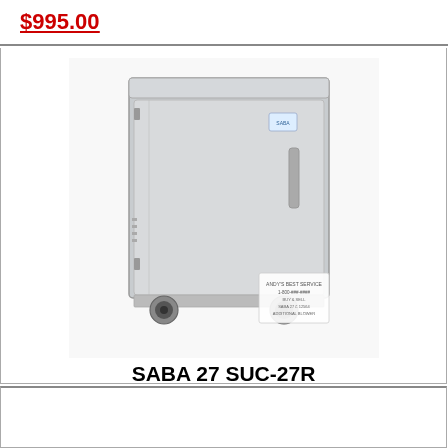$995.00
[Figure (photo): Commercial under-counter refrigerator SABA 27 SUC-27R, stainless steel single door unit on casters]
SABA 27 SUC-27R
Saba 27 Suc-27r -1 Door Commercial Under-counter Refrigerator Ss Food Storage
Saba Undercounter Refrigerators Give You A Great
$1553.44